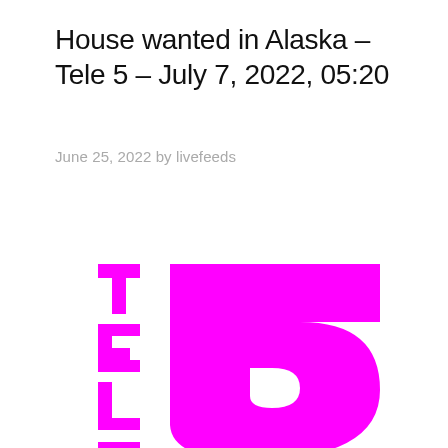House wanted in Alaska – Tele 5 – July 7, 2022, 05:20
June 25, 2022 by livefeeds
[Figure (logo): Tele 5 logo in magenta/pink on white background, featuring the text 'TELE' vertically on the left and a stylized number 5 shape on the right, all in bright magenta color.]